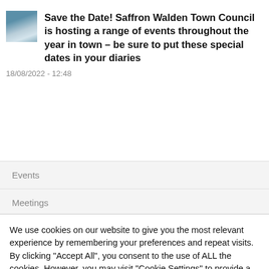Save the Date! Saffron Walden Town Council is hosting a range of events throughout the year in town – be sure to put these special dates in your diaries
18/08/2022 - 12:48
Events
Meetings
We use cookies on our website to give you the most relevant experience by remembering your preferences and repeat visits. By clicking "Accept All", you consent to the use of ALL the cookies. However, you may visit "Cookie Settings" to provide a controlled consent.